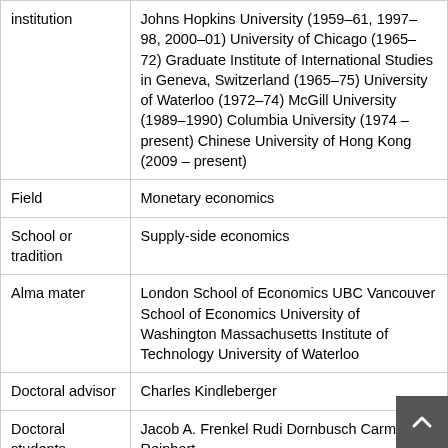| Field | Value |
| --- | --- |
| institution | Johns Hopkins University (1959–61, 1997–98, 2000–01) University of Chicago (1965–72) Graduate Institute of International Studies in Geneva, Switzerland (1965–75) University of Waterloo (1972–74) McGill University (1989–1990) Columbia University (1974 – present) Chinese University of Hong Kong (2009 – present) |
| Field | Monetary economics |
| School or tradition | Supply-side economics |
| Alma mater | London School of Economics UBC Vancouver School of Economics University of Washington Massachusetts Institute of Technology University of Waterloo |
| Doctoral advisor | Charles Kindleberger |
| Doctoral students | Jacob A. Frenkel Rudi Dornbusch Carmen Reinhart |